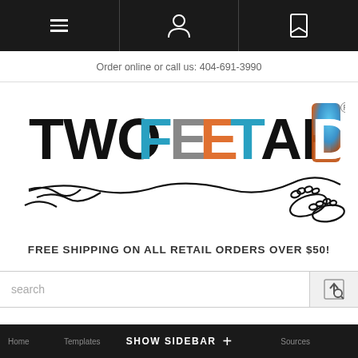Navigation bar with menu, user, and bookmark icons
Order online or call us: 404-691-3990
[Figure (logo): Two Feet Ahead logo with colorful text and illustrated baby feet running]
FREE SHIPPING ON ALL RETAIL ORDERS OVER $50!
search
SHOW SIDEBAR +